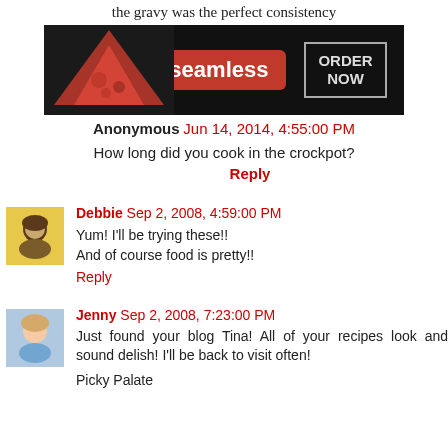the gravy was the perfect consistency
[Figure (screenshot): Seamless food delivery advertisement banner showing pizza and ORDER NOW button]
Anonymous  Jun 14, 2014, 4:55:00 PM
How long did you cook in the crockpot?
Reply
Debbie  Sep 2, 2008, 4:59:00 PM
Yum! I'll be trying these!!
And of course food is pretty!!
Reply
Jenny  Sep 2, 2008, 7:23:00 PM
Just found your blog Tina! All of your recipes look and sound delish! I'll be back to visit often!
Picky Palate